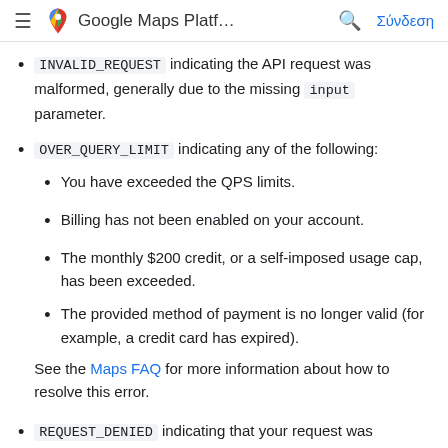Google Maps Platf...
INVALID_REQUEST indicating the API request was malformed, generally due to the missing input parameter.
OVER_QUERY_LIMIT indicating any of the following:
You have exceeded the QPS limits.
Billing has not been enabled on your account.
The monthly $200 credit, or a self-imposed usage cap, has been exceeded.
The provided method of payment is no longer valid (for example, a credit card has expired).
See the Maps FAQ for more information about how to resolve this error.
REQUEST_DENIED indicating that your request was